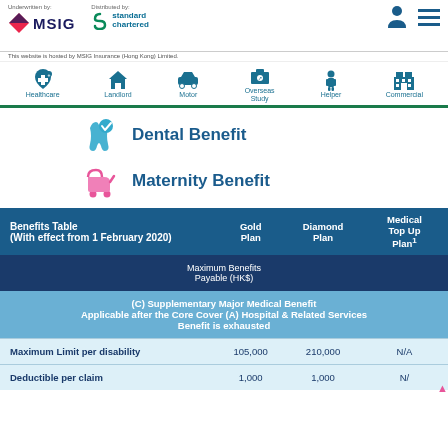Underwritten by: MSIG | Distributed by: Standard Chartered | This website is hosted by MSIG Insurance (Hong Kong) Limited.
Healthcare | Landlord | Motor | Overseas Study | Helper | Commercial
Dental Benefit
Maternity Benefit
| Benefits Table (With effect from 1 February 2020) | Gold Plan | Diamond Plan | Medical Top Up Plan¹ |
| --- | --- | --- | --- |
| Maximum Benefits Payable (HK$) |  |  |  |
| (C) Supplementary Major Medical Benefit Applicable after the Core Cover (A) Hospital & Related Services Benefit is exhausted |  |  |  |
| Maximum Limit per disability | 105,000 | 210,000 | N/A |
| Deductible per claim | 1,000 | 1,000 | N/A |